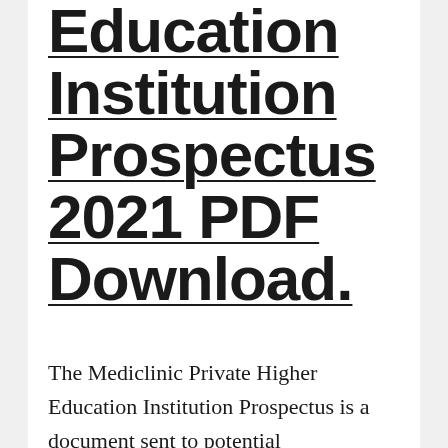Education Institution Prospectus 2021 PDF Download.
The Mediclinic Private Higher Education Institution Prospectus is a document sent to potential (prospective) students that...